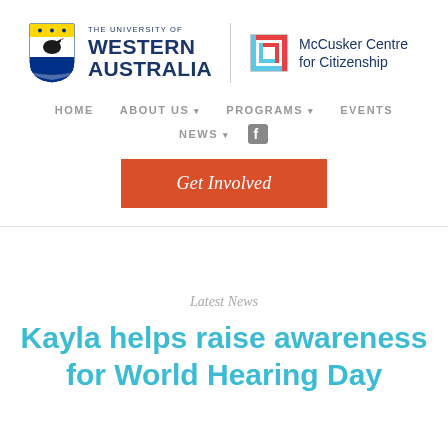[Figure (logo): University of Western Australia shield logo with black swan and blue/gold heraldic design]
THE UNIVERSITY OF WESTERN AUSTRALIA | McCusker Centre for Citizenship
HOME   ABOUT US ▾   PROGRAMS ▾   EVENTS
NEWS ▾
Get Involved
Latest News
Kayla helps raise awareness for World Hearing Day